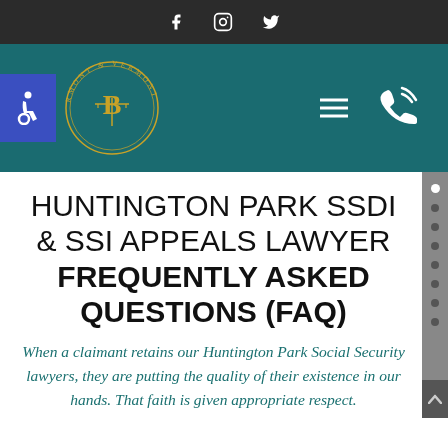Social media icons: Facebook, Instagram, Twitter
[Figure (logo): Navigation bar with accessibility icon, law firm logo (RMONT B Vermont circular seal), hamburger menu, and phone icon on teal background]
HUNTINGTON PARK SSDI & SSI APPEALS LAWYER FREQUENTLY ASKED QUESTIONS (FAQ)
When a claimant retains our Huntington Park Social Security lawyers, they are putting the quality of their existence in our hands. That faith is given appropriate respect.